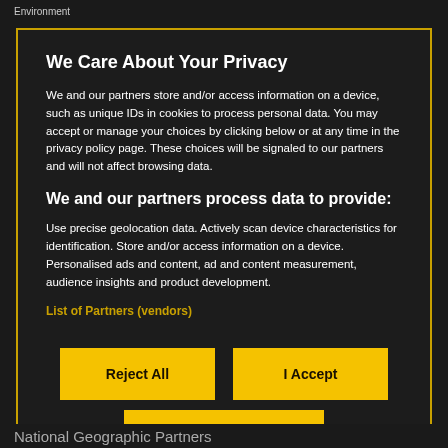Environment
We Care About Your Privacy
We and our partners store and/or access information on a device, such as unique IDs in cookies to process personal data. You may accept or manage your choices by clicking below or at any time in the privacy policy page. These choices will be signaled to our partners and will not affect browsing data.
We and our partners process data to provide:
Use precise geolocation data. Actively scan device characteristics for identification. Store and/or access information on a device. Personalised ads and content, ad and content measurement, audience insights and product development.
List of Partners (vendors)
Reject All
I Accept
Show Purposes
National Geographic Partners